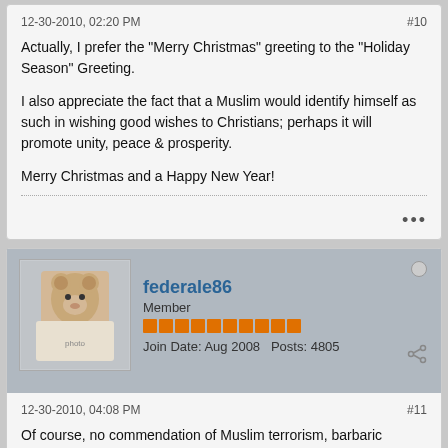12-30-2010, 02:20 PM
#10
Actually, I prefer the "Merry Christmas" greeting to the "Holiday Season" Greeting.

I also appreciate the fact that a Muslim would identify himself as such in wishing good wishes to Christians; perhaps it will promote unity, peace & prosperity.

Merry Christmas and a Happy New Year!
federale86
Member
Join Date: Aug 2008   Posts: 4805
12-30-2010, 04:08 PM
#11
Of course, no commendation of Muslim terrorism, barbaric practices like female genital mutilation, honor killing, etc.